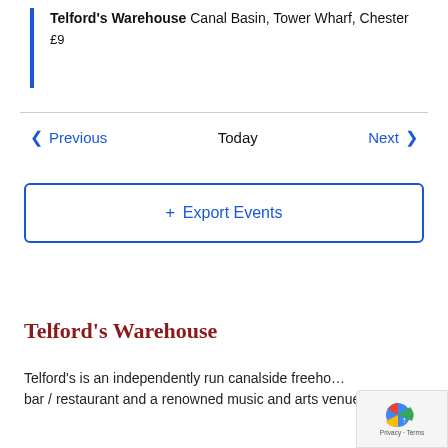Telford's Warehouse Canal Basin, Tower Wharf, Chester
£9
< Previous   Today   Next >
+ Export Events
Telford's Warehouse
Telford's is an independently run canalside freeho... bar / restaurant and a renowned music and arts venue...